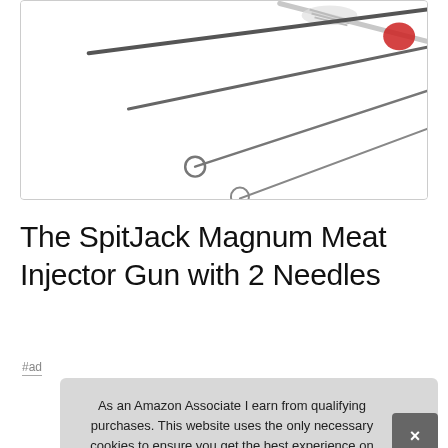[Figure (photo): Product photo showing metal meat injector needles and a cleaning brush on white background]
The SpitJack Magnum Meat Injector Gun with 2 Needles
#ad
As an Amazon Associate I earn from qualifying purchases. This website uses the only necessary cookies to ensure you get the best experience on our website. More information